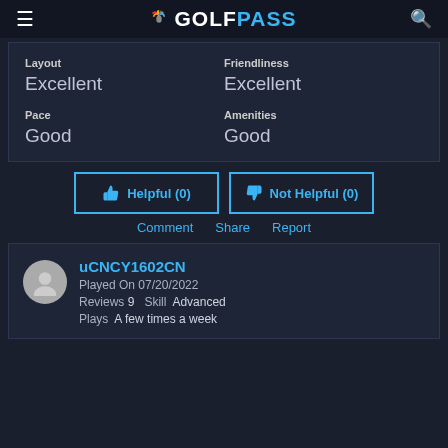GOLFPASS
| Category | Rating |
| --- | --- |
| Layout | Excellent |
| Friendliness | Excellent |
| Pace | Good |
| Amenities | Good |
Helpful (0)
Not Helpful (0)
Comment  Share  Report
uCNCY1602CN
Played On 07/20/2022
Reviews 9  Skill  Advanced
Plays  A few times a week